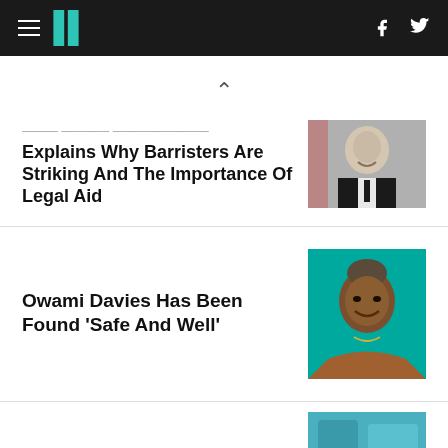HuffPost – navigation header with hamburger menu, logo, Facebook and Twitter icons
^ (chevron up)
... Explains Why Barristers Are Striking And The Importance Of Legal Aid
[Figure (photo): Headshot of a smiling bald man in a black tuxedo with white shirt and black tie, against a red background]
Owami Davies Has Been Found 'Safe And Well'
[Figure (photo): Portrait of a smiling Black woman with grey-streaked hair pulled up, wearing a necklace, against a teal/green background]
[Figure (photo): Partial photo visible at bottom right, appears to show a teal/blue background – article image cut off]